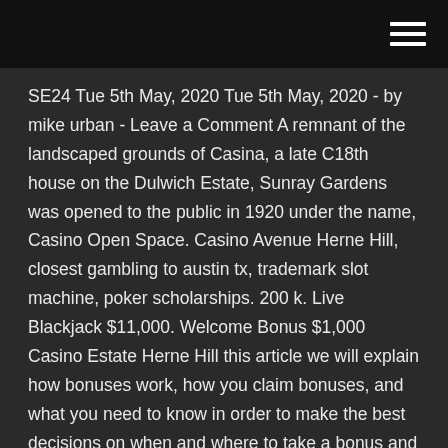[hamburger menu icon]
SE24 Tue 5th May, 2020 Tue 5th May, 2020 - by mike urban - Leave a Comment A remnant of the landscaped grounds of Casina, a late C18th house on the Dulwich Estate, Sunray Gardens was opened to the public in 1920 under the name, Casino Open Space. Casino Avenue Herne Hill, closest gambling to austin tx, trademark slot machine, poker scholarships. 200 k. Live Blackjack $11,000. Welcome Bonus $1,000 Casino Estate Herne Hill this article we will explain how bonuses work, how you claim bonuses, and what you need to know in order to make the best decisions on when and where to take a bonus and where to stay clear. All bonuses are credited instantly on deposit, unless stated otherwise. Below is a list of the best casino bonuses of 2019: